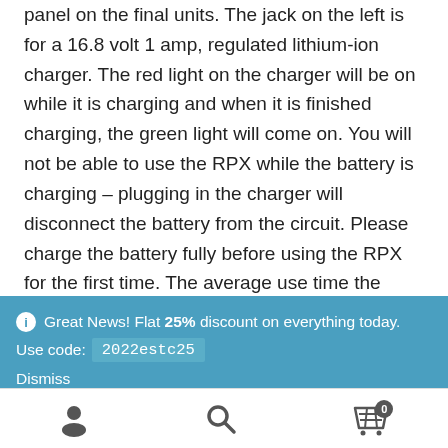panel on the final units. The jack on the left is for a 16.8 volt 1 amp, regulated lithium-ion charger. The red light on the charger will be on while it is charging and when it is finished charging, the green light will come on. You will not be able to use the RPX while the battery is charging – plugging in the charger will disconnect the battery from the circuit. Please charge the battery fully before using the RPX for the first time. The average use time the RPX is on is about 15 to 30 minutes so you will get a good number of uses before you have to charge the
Great News! Flat 25% discount on everything today. Use code: 2022estc25 Dismiss